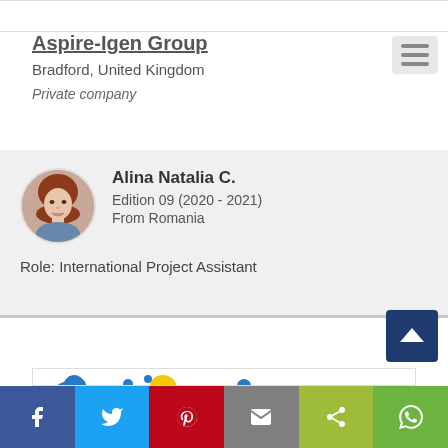Aspire-Igen Group
Bradford, United Kingdom
Private company
[Figure (photo): Circular profile photo of Alina Natalia C., a young woman with reddish-brown hair]
Alina Natalia C.
Edition 09 (2020 - 2021)
From Romania
Role: International Project Assistant
[Figure (logo): Partial colorful logo at the bottom of the page with blue and yellow/orange shapes on white background]
Social sharing bar: Facebook, Twitter, Pinterest, Email, Share, WhatsApp